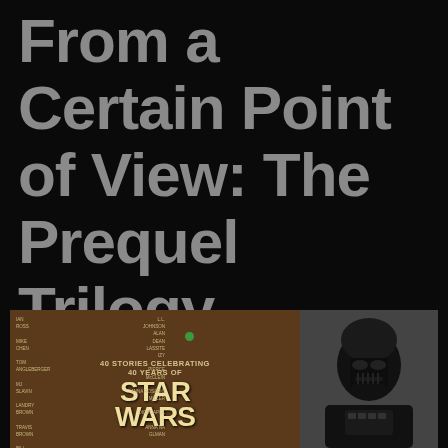From a Certain Point of View: The Prequel Trilogy
[Figure (photo): Photo of the book 'From a Certain Point of View: 40 Stories Celebrating 40 Years of Star Wars' alongside a Darth Vader image, placed on a red background.]